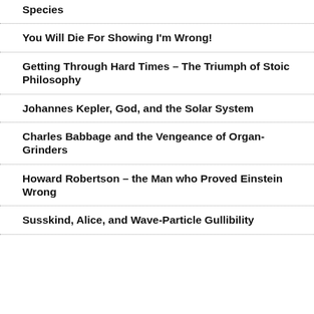Species
You Will Die For Showing I'm Wrong!
Getting Through Hard Times – The Triumph of Stoic Philosophy
Johannes Kepler, God, and the Solar System
Charles Babbage and the Vengeance of Organ-Grinders
Howard Robertson – the Man who Proved Einstein Wrong
Susskind, Alice, and Wave-Particle Gullibility